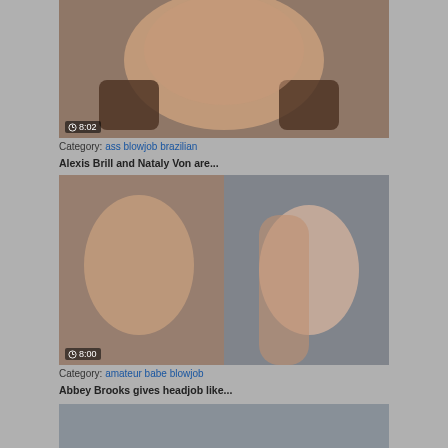[Figure (photo): Thumbnail of adult video, 8:02 duration badge]
Category: ass blowjob brazilian
Alexis Brill and Nataly Von are...
[Figure (photo): Thumbnail of adult video showing two women, 8:00 duration badge]
Category: amateur babe blowjob
Abbey Brooks gives headjob like...
[Figure (photo): Partial thumbnail of third adult video]